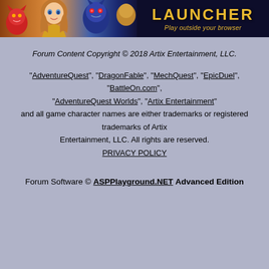[Figure (illustration): Banner image showing game characters (a girl with brown hair, red creature, blue creature) on the left against a dark background, with 'LAUNCHER - Play outside your browser' text in gold on the right dark panel.]
Forum Content Copyright © 2018 Artix Entertainment, LLC.
"AdventureQuest", "DragonFable", "MechQuest", "EpicDuel", "BattleOn.com", "AdventureQuest Worlds", "Artix Entertainment" and all game character names are either trademarks or registered trademarks of Artix Entertainment, LLC. All rights are reserved.
PRIVACY POLICY
Forum Software © ASPPlayground.NET Advanced Edition